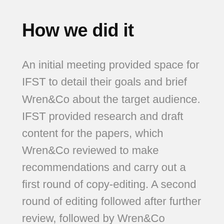How we did it
An initial meeting provided space for IFST to detail their goals and brief Wren&Co about the target audience. IFST provided research and draft content for the papers, which Wren&Co reviewed to make recommendations and carry out a first round of copy-editing. A second round of editing followed after further review, followed by Wren&Co creating an executive summary and tweetable content to accompany the release